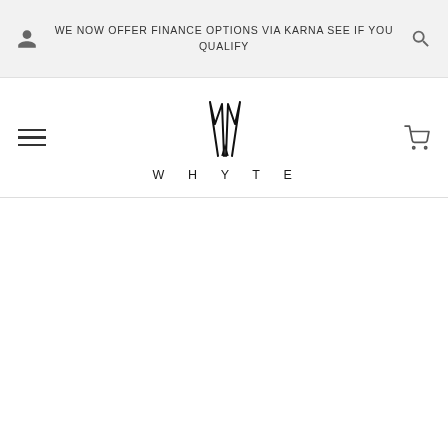WE NOW OFFER FINANCE OPTIONS VIA KARNA SEE IF YOU QUALIFY
[Figure (logo): WHYTE brand logo with stylized antler/spike graphic above the letters W H Y T E spaced out]